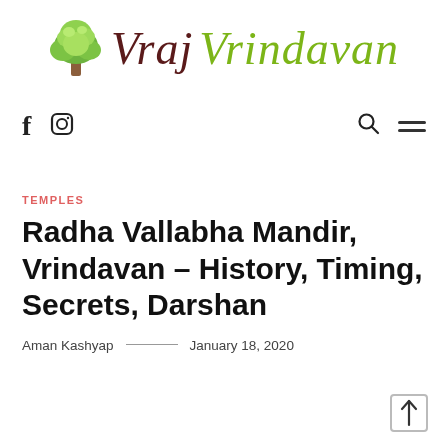[Figure (logo): Vraj Vrindavan website logo with a decorative tree icon on the left and stylized cursive text 'Vraj' in dark maroon and 'Vrindavan' in green]
[Figure (infographic): Navigation bar with Facebook 'f' icon and Instagram camera icon on the left, and search (magnifying glass) icon and hamburger menu icon on the right]
TEMPLES
Radha Vallabha Mandir, Vrindavan – History, Timing, Secrets, Darshan
Aman Kashyap — January 18, 2020